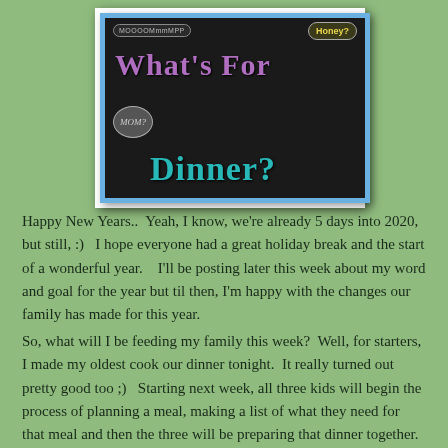[Figure (illustration): Decorative blog header image on dark chalkboard background with blue border, showing speech bubbles saying 'MOOOOMmmMPP' and 'Honey?' and 'MOM?' with text 'What's For Dinner?' in purple and teal chalk-style lettering.]
Happy New Years..  Yeah, I know, we're already 5 days into 2020, but still, :)   I hope everyone had a great holiday break and the start of a wonderful year.    I'll be posting later this week about my word and goal for the year but til then, I'm happy with the changes our family has made for this year.
So, what will I be feeding my family this week?  Well, for starters, I made my oldest cook our dinner tonight.  It really turned out pretty good too ;)   Starting next week, all three kids will begin the process of planning a meal, making a list of what they need for that meal and then the three will be preparing that dinner together. But that's not til next week ;)   Also, we decided to change our menu from last week, so a few meals that were planned for last